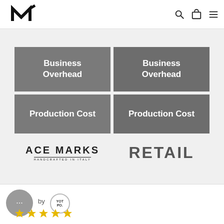AM (Ace Marks logo) with search, cart, and menu icons
[Figure (infographic): Two-column comparison grid showing Business Overhead and Production Cost rows for Ace Marks vs Retail, with Ace Marks logo and RETAIL label at bottom]
... by YOTPO (chat widget area with stars)